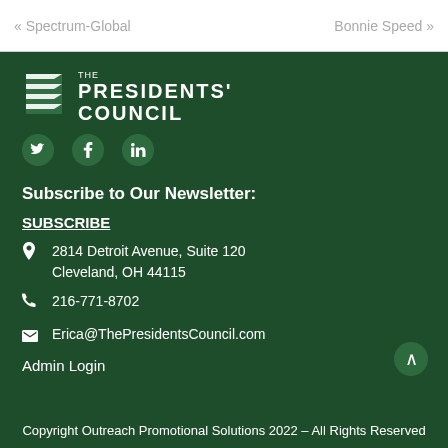« Spectrum-Global    Bonnie Speed »
[Figure (logo): The Presidents' Council logo with stacked flag/banner icon and bold white text reading THE PRESIDENTS' COUNCIL on dark green background]
[Figure (infographic): Social media icons: Twitter (bird), Facebook (f), LinkedIn (in) on dark green background]
Subscribe to Our Newsletter:
SUBSCRIBE
📍  2814 Detroit Avenue, Suite 120
Cleveland, OH 44115
📞  216-771-8702
✉  Erica@ThePresidentsCouncil.com
Admin Login
Copyright Outreach Promotional Solutions 2022 – All Rights Reserved